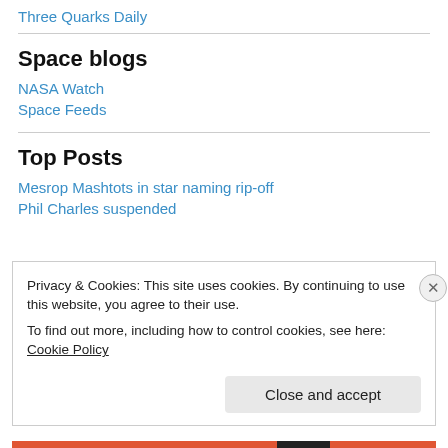Three Quarks Daily
Space blogs
NASA Watch
Space Feeds
Top Posts
Mesrop Mashtots in star naming rip-off
Phil Charles suspended
Privacy & Cookies: This site uses cookies. By continuing to use this website, you agree to their use.
To find out more, including how to control cookies, see here: Cookie Policy
Close and accept